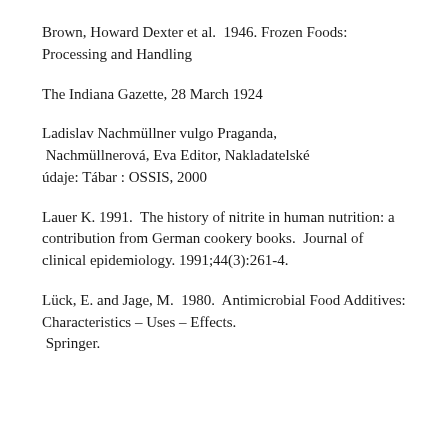Brown, Howard Dexter et al.  1946. Frozen Foods: Processing and Handling
The Indiana Gazette, 28 March 1924
Ladislav Nachmüllner vulgo Praganda, Nachmüllnerová, Eva Editor, Nakladatelské údaje: Tábar : OSSIS, 2000
Lauer K. 1991.  The history of nitrite in human nutrition: a contribution from German cookery books.  Journal of clinical epidemiology.  1991;44(3):261-4.
Lück, E. and Jage, M.  1980.  Antimicrobial Food Additives: Characteristics – Uses – Effects.  Springer.